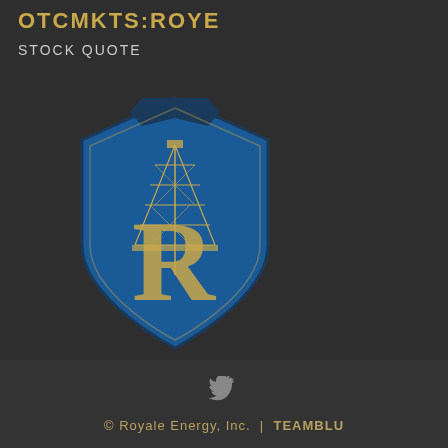OTCMKTS:ROYE
STOCK QUOTE
[Figure (logo): Royale Energy Inc. logo: a blue shield/crest shape containing a large golden letter R with an oil derrick tower integrated into the letter design]
© Royale Energy, Inc. | TEAMBLU